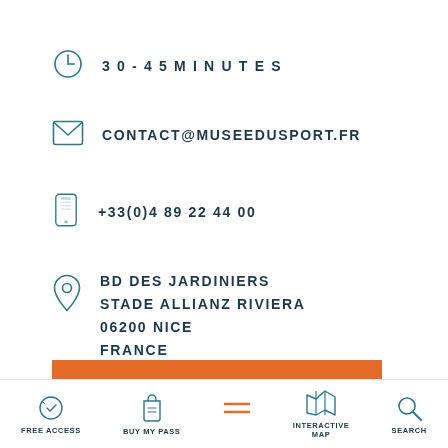30 - 45 MINUTES
CONTACT@MUSEEDUSPORT.FR
+33(0)4 89 22 44 00
BD DES JARDINIERS
STADE ALLIANZ RIVIERA
06200 NICE
FRANCE
VISIT THE WEBSITE
FREE ACCESS  BUY MY PASS  INTERACTIVE MAP  SEARCH